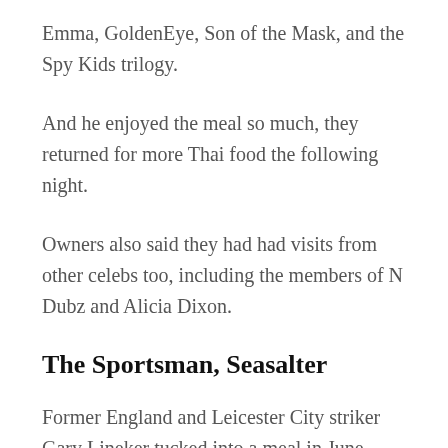Emma, GoldenEye, Son of the Mask, and the Spy Kids trilogy.
And he enjoyed the meal so much, they returned for more Thai food the following night.
Owners also said they had had visits from other celebs too, including the members of N Dubz and Alicia Dixon.
The Sportsman, Seasalter
Former England and Leicester City striker Gary Lineker tucked into a meal in June 2018 at Whitstable gastropub The Sportsman as part of a weekend out in Kent.